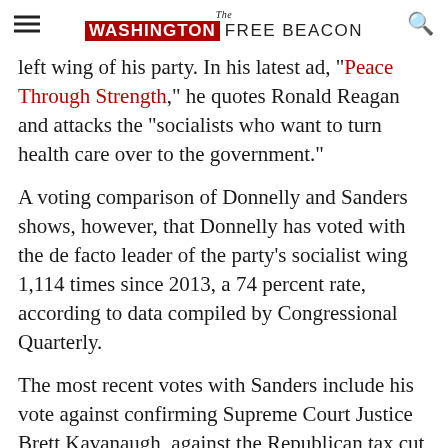The Washington Free Beacon
left wing of his party. In his latest ad, "Peace Through Strength," he quotes Ronald Reagan and attacks the "socialists who want to turn health care over to the government."
A voting comparison of Donnelly and Sanders shows, however, that Donnelly has voted with the de facto leader of the party's socialist wing 1,114 times since 2013, a 74 percent rate, according to data compiled by Congressional Quarterly.
The most recent votes with Sanders include his vote against confirming Supreme Court Justice Brett Kavanaugh, against the Republican tax cut bill, and voting against the repeal of Obamacare.